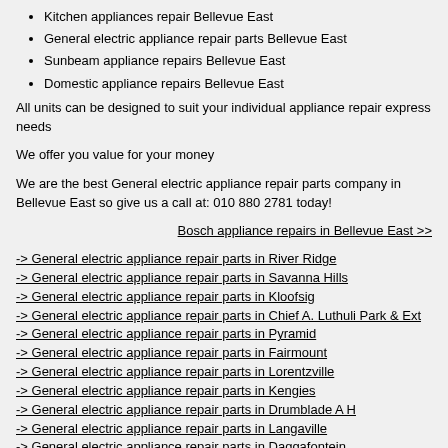Kitchen appliances repair Bellevue East
General electric appliance repair parts Bellevue East
Sunbeam appliance repairs Bellevue East
Domestic appliance repairs Bellevue East
All units can be designed to suit your individual appliance repair express needs
We offer you value for your money
We are the best General electric appliance repair parts company in Bellevue East so give us a call at: 010 880 2781 today!
Bosch appliance repairs in Bellevue East >>
-> General electric appliance repair parts in River Ridge
-> General electric appliance repair parts in Savanna Hills
-> General electric appliance repair parts in Kloofsig
-> General electric appliance repair parts in Chief A. Luthuli Park & Ext
-> General electric appliance repair parts in Pyramid
-> General electric appliance repair parts in Fairmount
-> General electric appliance repair parts in Lorentzville
-> General electric appliance repair parts in Kengies
-> General electric appliance repair parts in Drumblade A H
-> General electric appliance repair parts in Langaville
-> General electric appliance repair parts in Daggafontein
-> General electric appliance repair parts in Frand